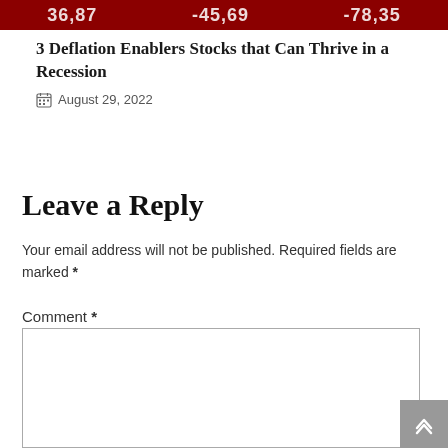[Figure (screenshot): Dark red stock ticker banner showing numbers 36,87  -45,69  -78,35]
3 Deflation Enablers Stocks that Can Thrive in a Recession
August 29, 2022
Leave a Reply
Your email address will not be published. Required fields are marked *
Comment *